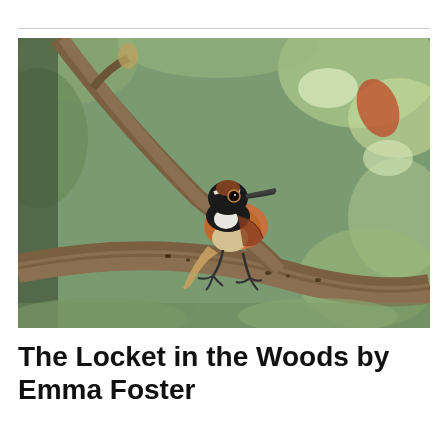[Figure (photo): A small bird with rusty-orange, black, and white plumage perched on a tree branch in a wooded setting with blurred green foliage in the background.]
The Locket in the Woods by Emma Foster